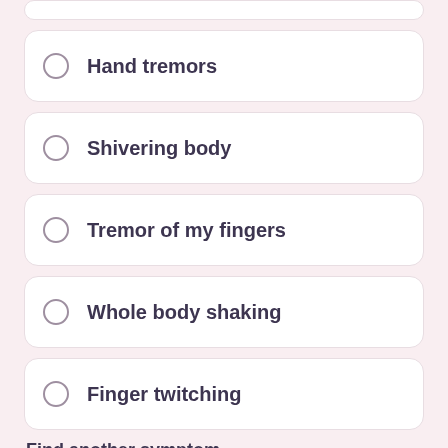Hand tremors
Shivering body
Tremor of my fingers
Whole body shaking
Finger twitching
Find another symptom
Search for another symptom